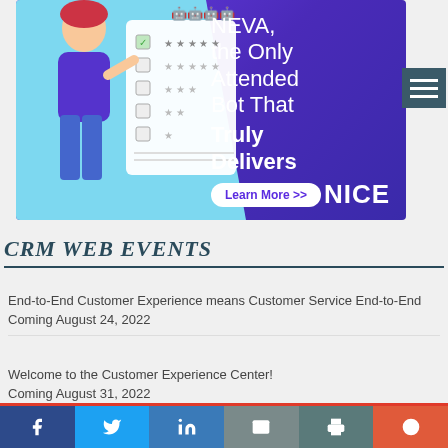[Figure (illustration): NICE NEVA advertisement banner. Purple/blue gradient background with cartoon female character on light blue left panel holding a checklist with checkboxes and stars. Text reads: NEVA, the Only Attended Bot That Truly Delivers. Learn More >> button. NICE logo at bottom right.]
CRM WEB EVENTS
End-to-End Customer Experience means Customer Service End-to-End
Coming August 24, 2022
Welcome to the Customer Experience Center!
Coming August 31, 2022